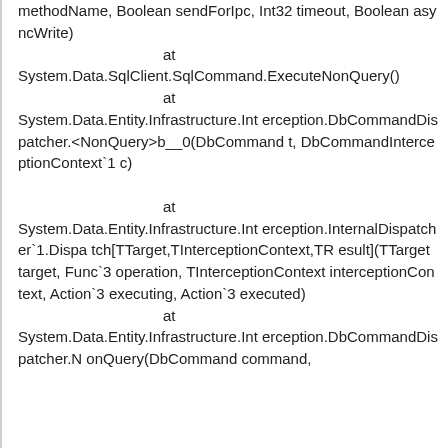methodName, Boolean sendForIpc, Int32 timeout, Boolean asyncWrite)
   at System.Data.SqlClient.SqlCommand.ExecuteNonQuery()
   at System.Data.Entity.Infrastructure.Interception.DbCommandDispatcher.<NonQuery>b__0(DbCommand t, DbCommandInterceptionContext`1 c)
   at System.Data.Entity.Infrastructure.Interception.InternalDispatcher`1.Dispatch[TTarget,TInterceptionContext,TResult](TTarget target, Func`3 operation, TInterceptionContext interceptionContext, Action`3 executing, Action`3 executed)
   at System.Data.Entity.Infrastructure.Interception.DbCommandDispatcher.NonQuery(DbCommand command,